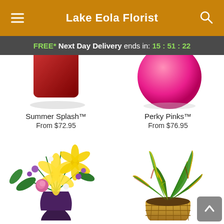Lake Eola Florist
FREE* Next Day Delivery ends in: 15:51:22
[Figure (photo): Partial view of Summer Splash arrangement - a red box/vase with flowers, cropped at top]
Summer Splash™
From $72.95
[Figure (photo): Partial view of Perky Pinks arrangement - a pink sphere/balloon, cropped at top]
Perky Pinks™
From $76.95
[Figure (photo): Floral arrangement with yellow lilies, pink roses, and purple flowers in a dark purple vase]
[Figure (photo): Tropical croton plant with colorful leaves in a wicker basket]